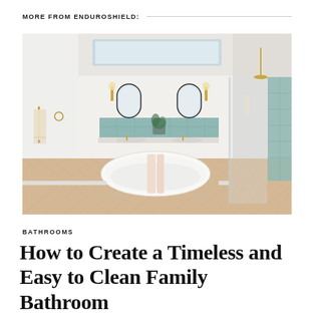MORE FROM ENDUROSHIELD:
[Figure (photo): Bright modern bathroom with white freestanding oval bathtub centered on herringbone light wood floor, teal/sage tile backsplash behind double vanity with two oval mirrors and gold sconces, glass shower panel on right with teal tile wall, gold towel bar on left wall with cream towels, white walls and ceiling with skylight]
BATHROOMS
How to Create a Timeless and Easy to Clean Family Bathroom